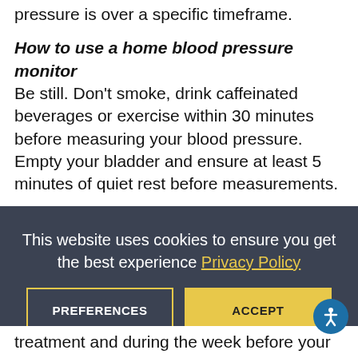pressure is over a specific timeframe.
How to use a home blood pressure monitor
Be still. Don't smoke, drink caffeinated beverages or exercise within 30 minutes before measuring your blood pressure. Empty your bladder and ensure at least 5 minutes of quiet rest before measurements.
Sit correctly. Sit with your back straight and supported (on a dining chair, rather than a sofa). Your feet should be flat on the floor and your legs should not be crossed. Your arm should be supported, level, flat surface...
This website uses cookies to ensure you get the best experience Privacy Policy
PREFERENCES
ACCEPT
treatment and during the week before your